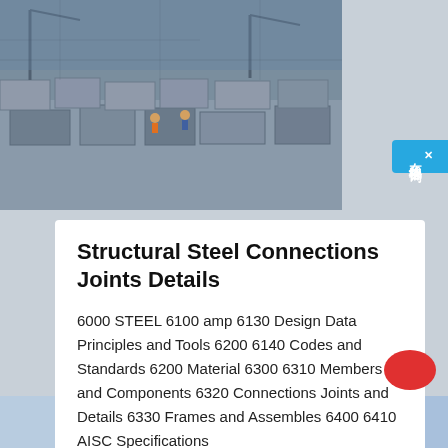[Figure (photo): Aerial view of a structural steel construction site with workers and concrete forms]
Structural Steel Connections Joints Details
6000 STEEL 6100 amp 6130 Design Data Principles and Tools 6200 6140 Codes and Standards 6200 Material 6300 6310 Members and Components 6320 Connections Joints and Details 6330 Frames and Assembles 6400 6410 AISC Specifications
Get a Quote
Chat Now